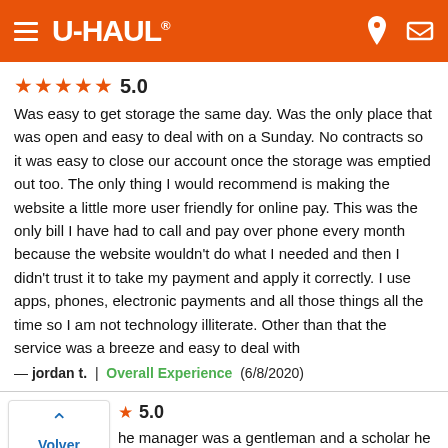U-HAUL
★★★★★ 5.0
Was easy to get storage the same day. Was the only place that was open and easy to deal with on a Sunday. No contracts so it was easy to close our account once the storage was emptied out too. The only thing I would recommend is making the website a little more user friendly for online pay. This was the only bill I have had to call and pay over phone every month because the website wouldn't do what I needed and then I didn't trust it to take my payment and apply it correctly. I use apps, phones, electronic payments and all those things all the time so I am not technology illiterate. Other than that the service was a breeze and easy to deal with
— jordan t.  |  Overall Experience  (6/8/2020)
★ 5.0
the manager was a gentleman and a scholar he was very professional and hospitable and very patient even when he was so busy...